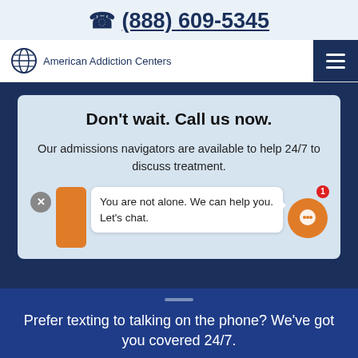(888) 609-5345
[Figure (logo): American Addiction Centers logo with globe icon and text]
Don't wait. Call us now.
Our admissions navigators are available to help 24/7 to discuss treatment.
You are not alone. We can help you. Let's chat.
Prefer texting to talking on the phone? We've got you covered 24/7.